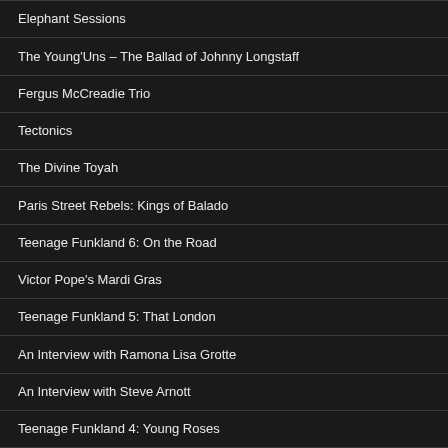Elephant Sessions
The Young'Uns – The Ballad of Johnny Longstaff
Fergus McCreadie Trio
Tectonics
The Divine Toyah
Paris Street Rebels: Kings of Balado
Teenage Funkland 6: On the Road
Victor Pope's Mardi Gras
Teenage Funkland 5: That London
An Interview with Ramona Lisa Grotte
An Interview with Steve Arnott
Teenage Funkland 4: Young Roses